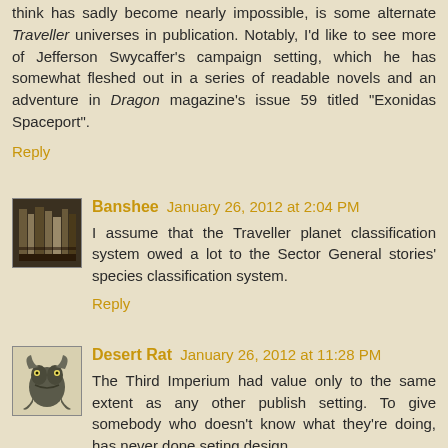think has sadly become nearly impossible, is some alternate Traveller universes in publication. Notably, I'd like to see more of Jefferson Swycaffer's campaign setting, which he has somewhat fleshed out in a series of readable novels and an adventure in Dragon magazine's issue 59 titled "Exonidas Spaceport".
Reply
Banshee January 26, 2012 at 2:04 PM
I assume that the Traveller planet classification system owed a lot to the Sector General stories' species classification system.
Reply
Desert Rat January 26, 2012 at 11:28 PM
The Third Imperium had value only to the same extent as any other publish setting. To give somebody who doesn't know what they're doing, has never done seting design, and has no clue what to start. And it's a lot like TTRP!